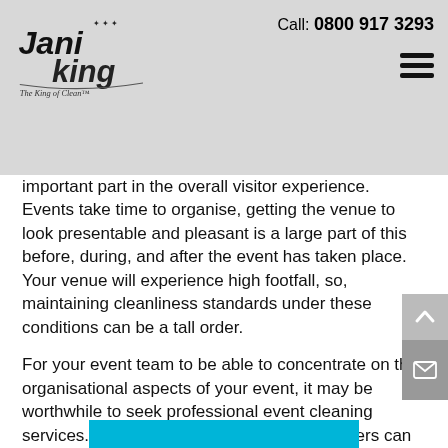Jani King – The King of Clean | Call: 0800 917 3293
important part in the overall visitor experience. Events take time to organise, getting the venue to look presentable and pleasant is a large part of this before, during, and after the event has taken place. Your venue will experience high footfall, so, maintaining cleanliness standards under these conditions can be a tall order.
For your event team to be able to concentrate on the organisational aspects of your event, it may be worthwhile to seek professional event cleaning services. Our fully trained professional cleaners can help you prepare the venue to deliver a memorable event experience, as well as a thorough and efficient clean up after the party is over.